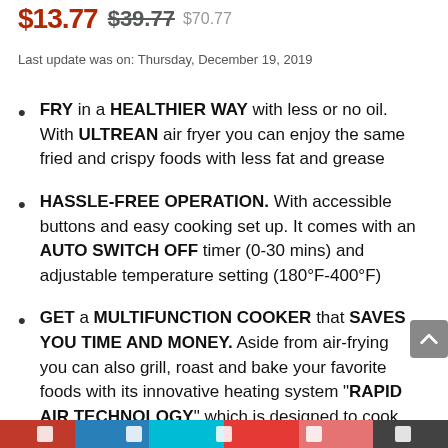$13.77  $39.77  $70.77
Last update was on: Thursday, December 19, 2019
FRY in a HEALTHIER WAY with less or no oil. With ULTREAN air fryer you can enjoy the same fried and crispy foods with less fat and grease
HASSLE-FREE OPERATION. With accessible buttons and easy cooking set up. It comes with an AUTO SWITCH OFF timer (0-30 mins) and adjustable temperature setting (180°F-400°F)
GET a MULTIFUNCTION COOKER that SAVES YOU TIME AND MONEY. Aside from air-frying you can also grill, roast and bake your favorite foods with its innovative heating system “RAPID AIR TECHNOLOGY” which is designed to cook